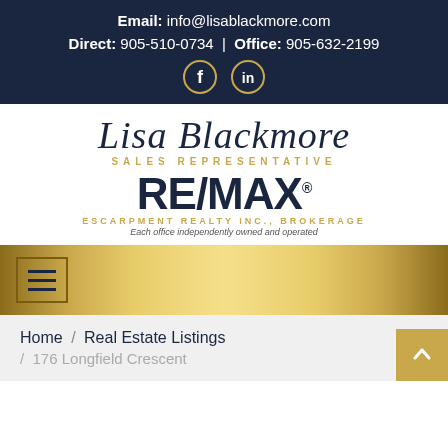Email: info@lisablackmore.com
Direct: 905-510-0734 | Office: 905-632-2199
[Figure (logo): Lisa Blackmore Sales Representative RE/MAX Escarpment Realty Inc., Brokerage logo]
[Figure (other): Gold navigation bar with hamburger menu icon]
Home / Real Estate Listings / 176 Longfield Crescent